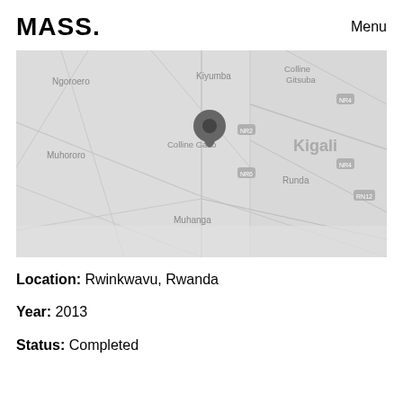MASS. Menu
[Figure (map): Grayscale map showing the area around Kigali, Rwanda, with a location pin marker near Colline Gako / Rwinkwavu area. Place names visible: Ngoroero, Kiyumba, Colline Gitsuba, Muhororo, Colline Gako, Kigali, Runda, Muhanga.]
Location: Rwinkwavu, Rwanda
Year: 2013
Status: Completed